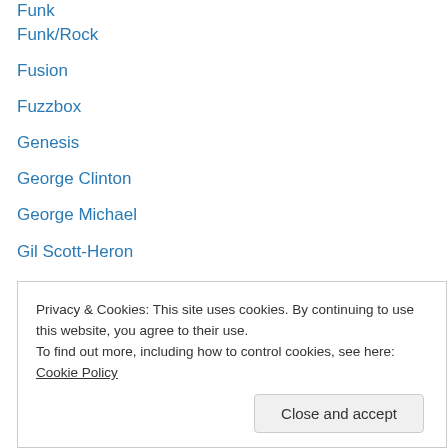Funk
Funk/Rock
Fusion
Fuzzbox
Genesis
George Clinton
George Michael
Gil Scott-Heron
Go West
Goth
Grace Jones
Guitar Solos
Guns N' Roses
Guy Pratt
Hip-Hop
Privacy & Cookies: This site uses cookies. By continuing to use this website, you agree to their use. To find out more, including how to control cookies, see here: Cookie Policy